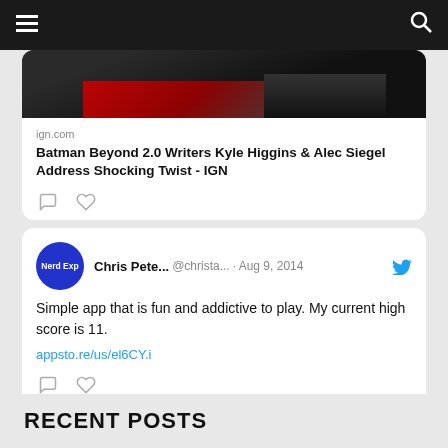☰  [search icon]
[Figure (screenshot): Partial tweet card showing a Batman Beyond 2.0 comic image in red and black with a link preview from ign.com titled 'Batman Beyond 2.0 Writers Kyle Higgins & Alec Siegel Address Shocking Twist - IGN']
ign.com
Batman Beyond 2.0 Writers Kyle Higgins & Alec Siegel Address Shocking Twist - IGN
Chris Pete... @christa... · Aug 9, 2014
Simple app that is fun and addictive to play. My current high score is 11.
appsto.re/us/el6CY.i
RECENT POSTS